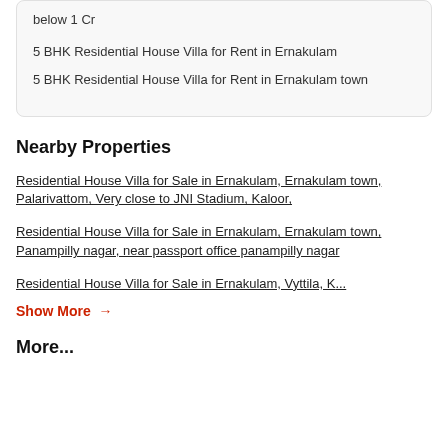below 1 Cr
5 BHK Residential House Villa for Rent in Ernakulam
5 BHK Residential House Villa for Rent in Ernakulam town
Nearby Properties
Residential House Villa for Sale in Ernakulam, Ernakulam town, Palarivattom, Very close to JNI Stadium, Kaloor,
Residential House Villa for Sale in Ernakulam, Ernakulam town, Panampilly nagar, near passport office panampilly nagar
Residential House Villa for Sale in Ernakulam, Vyttila, K...
Show More →
More...